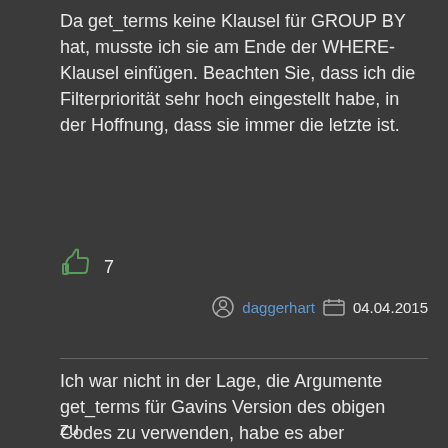Da get_terms keine Klausel für GROUP BY hat, musste ich sie am Ende der WHERE-Klausel einfügen. Beachten Sie, dass ich die Filterpriorität sehr hoch eingestellt habe, in der Hoffnung, dass sie immer die letzte ist.
👍 7
daggerhart  04.04.2015
Ich war nicht in der Lage, die Argumente get_terms für Gavins Version des obigen Codes zu verwenden, habe es aber schließlich durch Ändern getan
zu